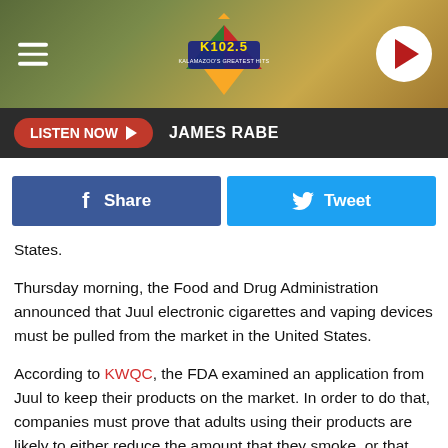[Figure (screenshot): K102.5 radio station website header with logo, hamburger menu, and play button on a blurred background]
[Figure (screenshot): Listen Now button with James Rabe text on dark background navigation bar]
[Figure (screenshot): Facebook Share and Twitter Tweet social sharing buttons]
States.
Thursday morning, the Food and Drug Administration announced that Juul electronic cigarettes and vaping devices must be pulled from the market in the United States.
According to KWQC, the FDA examined an application from Juul to keep their products on the market. In order to do that, companies must prove that adults using their products are likely to either reduce the amount that they smoke, or that they'll likely quit altogether. Companies must also show that teens aren't likely to get addicted to them.